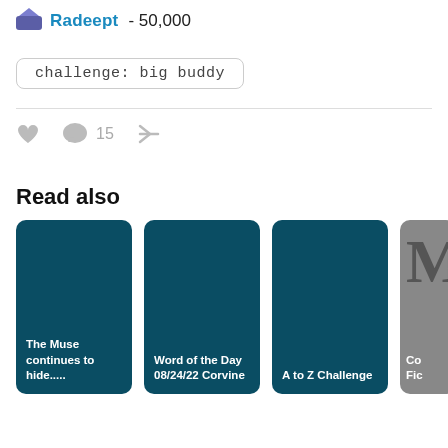Radeept · 50,000
challenge: big buddy
♥  💬 15  ↗
Read also
[Figure (other): Card: The Muse continues to hide.....]
[Figure (other): Card: Word of the Day 08/24/22 Corvine]
[Figure (other): Card: A to Z Challenge]
[Figure (other): Card: Co... Fic... (partially visible)]